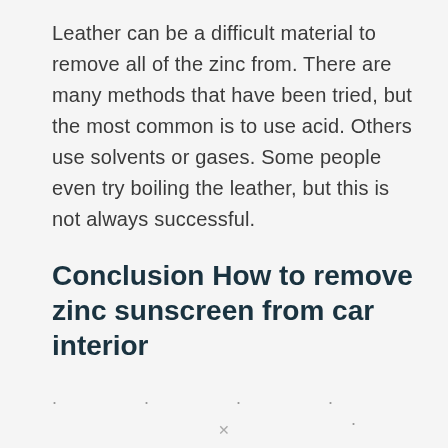Leather can be a difficult material to remove all of the zinc from. There are many methods that have been tried, but the most common is to use acid. Others use solvents or gases. Some people even try boiling the leather, but this is not always successful.
Conclusion How to remove zinc sunscreen from car interior